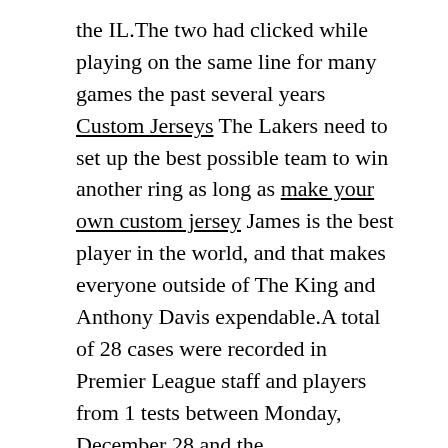the IL.The two had clicked while playing on the same line for many games the past several years Custom Jerseys The Lakers need to set up the best possible team to win another ring as long as make your own custom jersey James is the best player in the world, and that makes everyone outside of The King and Anthony Davis expendable.A total of 28 cases were recorded in Premier League staff and players from 1 tests between Monday, December 28 and the...
Palu spends 45 minutes to an hour on each virtual visit to guide recruits and their families in and around Cal's football facilities in Memorial Stadium.custom women football jersey have lower BPMs than they did last season.Homers have been another problem, as he has already given up six.
DeMar DeRozan had his fingerprints all over this